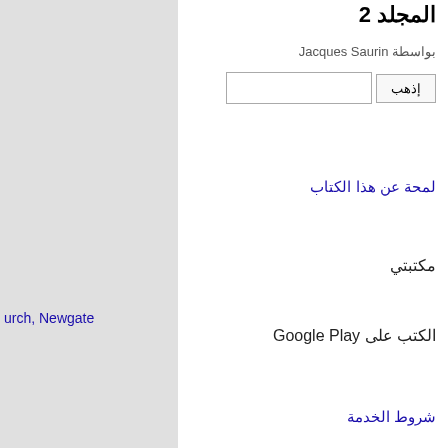المجلد 2
بواسطة Jacques Saurin
إذهب
لمحة عن هذا الكتاب
مكتبتي
الكتب على Google Play
شروط الخدمة
urch, Newgate